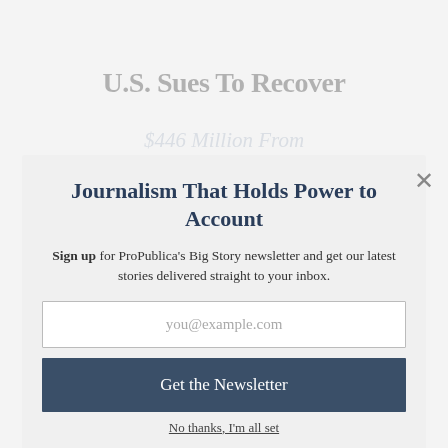U.S. Sues To Recover
$446 Million From Hezbollah-Connected Firm
Journalism That Holds Power to Account
Sign up for ProPublica's Big Story newsletter and get our latest stories delivered straight to your inbox.
you@example.com
Get the Newsletter
No thanks, I'm all set
This site is protected by reCAPTCHA and the Google Privacy Policy and Terms of Service apply.